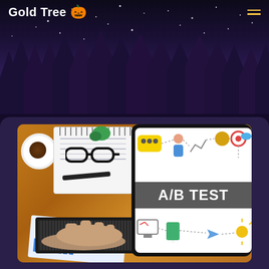Gold Tree 🎃
[Figure (illustration): Night scene with dark forest silhouette and starry sky background]
[Figure (photo): A/B Testing concept photo showing a desk with laptop, notebook, glasses, coffee cup, paper with charts, and a tablet displaying 'A/B TEST' text with colorful marketing icons]